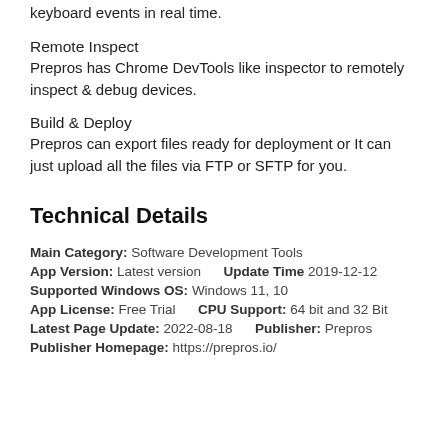keyboard events in real time.
Remote Inspect
Prepros has Chrome DevTools like inspector to remotely inspect & debug devices.
Build & Deploy
Prepros can export files ready for deployment or It can just upload all the files via FTP or SFTP for you.
Technical Details
Main Category: Software Development Tools
App Version: Latest version    Update Time 2019-12-12
Supported Windows OS: Windows 11, 10
App License: Free Trial    CPU Support: 64 bit and 32 Bit
Latest Page Update: 2022-08-18    Publisher: Prepros
Publisher Homepage: https://prepros.io/